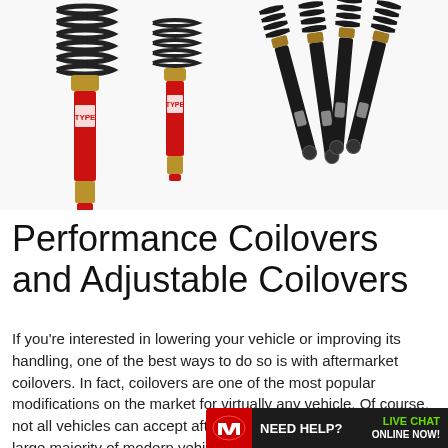[Figure (photo): Product photo showing performance coilovers: two red and gold coilover assemblies on the left, and four black coilover assemblies arranged on the right against a white background.]
Performance Coilovers and Adjustable Coilovers
If you're interested in lowering your vehicle or improving its handling, one of the best ways to do so is with aftermarket coilovers. In fact, coilovers are one of the most popular modifications on the market for virtually any vehicle. Of course, not all vehicles can accept aftermarket coilovers, however, the large majority of modern vehicle... "coilover" is derived from t...
[Figure (other): Need Help? Live Chat Online Now! banner with logo overlay at bottom right corner.]